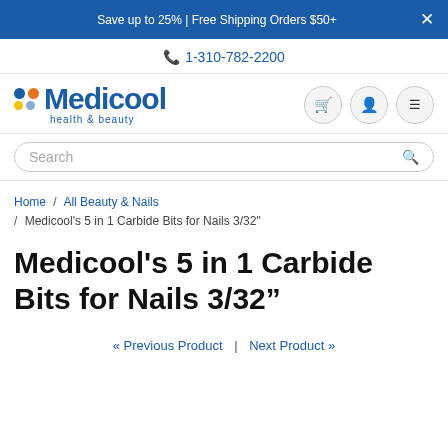Save up to 25% | Free Shipping Orders $50+
1-310-782-2200
[Figure (logo): Medicool health & beauty logo with colored dots]
Search
Home / All Beauty & Nails / Medicool's 5 in 1 Carbide Bits for Nails 3/32"
Medicool's 5 in 1 Carbide Bits for Nails 3/32"
« Previous Product  |  Next Product »